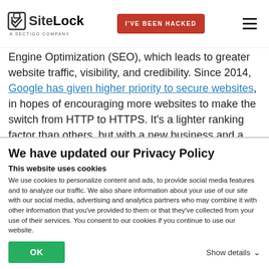SiteLock - A SECTIGO COMPANY | I'VE BEEN HACKED | Menu
Engine Optimization (SEO), which leads to greater website traffic, visibility, and credibility. Since 2014, Google has given higher priority to secure websites, in hopes of encouraging more websites to make the switch from HTTP to HTTPS. It’s a lighter ranking factor than others, but with a new business and a new website, any drop in your SEO bucket is worthwhile. Additionally, as of January 2017,
We have updated our Privacy Policy
This website uses cookies
We use cookies to personalize content and ads, to provide social media features and to analyze our traffic. We also share information about your use of our site with our social media, advertising and analytics partners who may combine it with other information that you’ve provided to them or that they’ve collected from your use of their services. You consent to our cookies if you continue to use our website.
OK | Show details